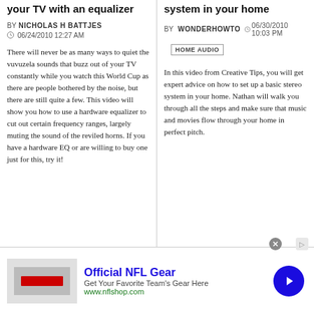your TV with an equalizer
BY NICHOLAS H BATTJES
06/24/2010 12:27 AM
There will never be as many ways to quiet the vuvuzela sounds that buzz out of your TV constantly while you watch this World Cup as there are people bothered by the noise, but there are still quite a few. This video will show you how to use a hardware equalizer to cut out certain frequency ranges, largely muting the sound of the reviled horns. If you have a hardware EQ or are willing to buy one just for this, try it!
system in your home
BY WONDERHOWTO   06/30/2010 10:03 PM
HOME AUDIO
In this video from Creative Tips, you will get expert advice on how to set up a basic stereo system in your home. Nathan will walk you through all the steps and make sure that music and movies flow through your home in perfect pitch.
[Figure (other): Advertisement banner for Official NFL Gear with logo, text, and navigation button]